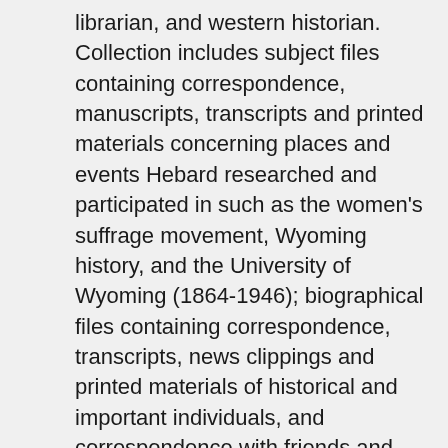librarian, and western historian. Collection includes subject files containing correspondence, manuscripts, transcripts and printed materials concerning places and events Hebard researched and participated in such as the women's suffrage movement, Wyoming history, and the University of Wyoming (1864-1946); biographical files containing correspondence, transcripts, news clippings and printed materials of historical and important individuals, and correspondence with friends and associates (1829-1947); manuscripts, along with related correspondence, interviews and research notes of her books (1850-1940); personal files containing correspondence with family and friends and genealogical information on the Hebard family (1856-1938); scrapbooks with news clippings and photographs of the University of Wyoming (1870-1935); appointment books; a copy of the one-act play "The Birth of Wyoming Day"; maps used in writing her